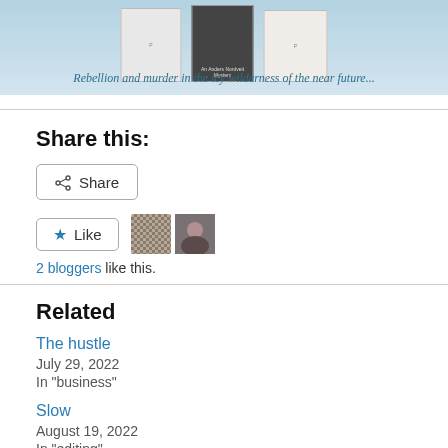[Figure (illustration): Banner image with book covers on a blue background, tagline: Rebellion and murder in the icy wilderness of the near future...]
Share this:
Share (button)
Like (button) — 2 bloggers like this.
Related
The hustle
July 29, 2022
In "business"
Slow
August 19, 2022
In "editing"